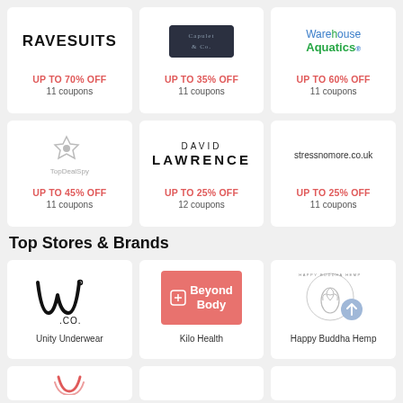[Figure (logo): Ravesuits logo - bold black text, UP TO 70% OFF, 11 coupons]
[Figure (logo): Capulet & Co. logo - dark rectangular embossed label, UP TO 35% OFF, 11 coupons]
[Figure (logo): Warehouse Aquatics logo - blue and green text, UP TO 60% OFF, 11 coupons]
[Figure (logo): TopDealSpy logo - small grey icon and text, UP TO 45% OFF, 11 coupons]
[Figure (logo): David Lawrence logo - spaced serif text, UP TO 25% OFF, 12 coupons]
[Figure (logo): stressnomore.co.uk logo - plain text, UP TO 25% OFF, 11 coupons]
Top Stores & Brands
[Figure (logo): Unity Underwear logo - stylized W with .CO. text]
Unity Underwear
[Figure (logo): Kilo Health / Beyond Body logo - salmon/pink background with icon and Beyond Body text]
Kilo Health
[Figure (logo): Happy Buddha Hemp logo - circular wreath/leaf design with blue circle arrow overlay]
Happy Buddha Hemp
[Figure (logo): Partial logo - red curved shape, card cut off at bottom of page]